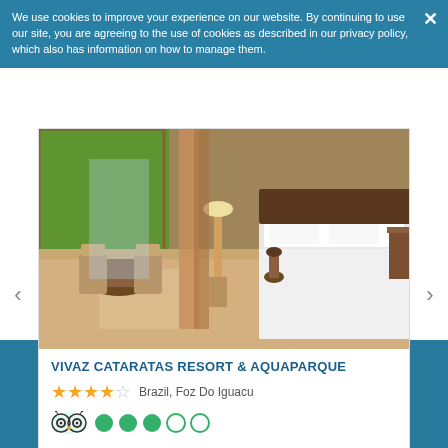We use cookies to improve your experience on our website. By continuing to use our site, you are agreeing to the use of cookies as described in our privacy policy, which also has information on how to manage them.
[Figure (photo): Hotel room interior with large windows overlooking garden, chairs, table, bed with white linen and wooden bedside tables]
VIVAZ CATARATAS RESORT & AQUAPARQUE
Brazil, Foz Do Iguacu
[Figure (infographic): TripAdvisor logo with 3 out of 5 green circles rating]
Sign up to get great deals
Email Address
Sign up